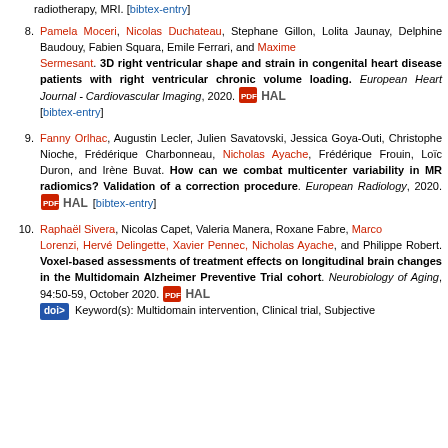radiotherapy, MRI. [bibtex-entry]
8. Pamela Moceri, Nicolas Duchateau, Stephane Gillon, Lolita Jaunay, Delphine Baudouy, Fabien Squara, Emile Ferrari, and Maxime Sermesant. 3D right ventricular shape and strain in congenital heart disease patients with right ventricular chronic volume loading. European Heart Journal - Cardiovascular Imaging, 2020. [bibtex-entry]
9. Fanny Orlhac, Augustin Lecler, Julien Savatovski, Jessica Goya-Outi, Christophe Nioche, Frédérique Charbonneau, Nicholas Ayache, Frédérique Frouin, Loïc Duron, and Irène Buvat. How can we combat multicenter variability in MR radiomics? Validation of a correction procedure. European Radiology, 2020. [bibtex-entry]
10. Raphaël Sivera, Nicolas Capet, Valeria Manera, Roxane Fabre, Marco Lorenzi, Hervé Delingette, Xavier Pennec, Nicholas Ayache, and Philippe Robert. Voxel-based assessments of treatment effects on longitudinal brain changes in the Multidomain Alzheimer Preventive Trial cohort. Neurobiology of Aging, 94:50-59, October 2020. Keyword(s): Multidomain intervention, Clinical trial, Subjective